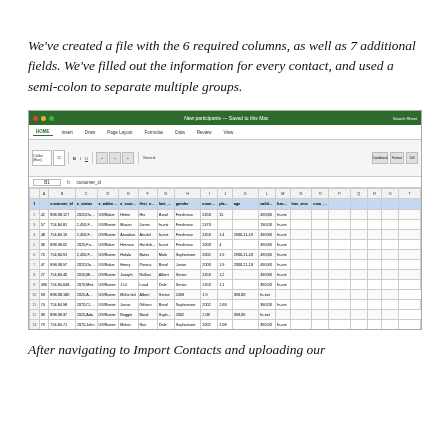We've created a file with the 6 required columns, as well as 7 additional fields. We've filled out the information for every contact, and used a semi-colon to separate multiple groups.
[Figure (screenshot): Screenshot of a Microsoft Excel spreadsheet showing a contact import file with multiple columns including customer_id, status, email, source, first_name, last_name, gender, country, plan_date, age, valid_subscription_date, has_news, etc. The spreadsheet has approximately 30 rows of data with contact information.]
After navigating to Import Contacts and uploading our